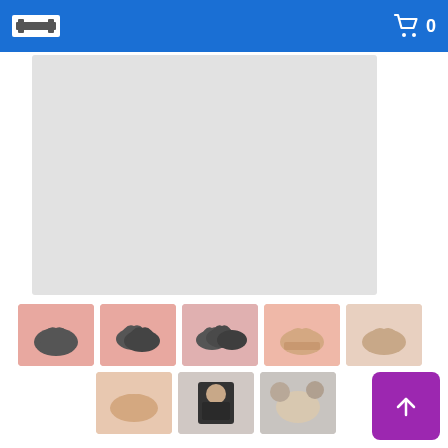Navigation bar with logo and cart icon (0 items)
[Figure (photo): Large light gray product main image area (placeholder)]
[Figure (photo): Thumbnail 1: dark gray bra, single, pink background]
[Figure (photo): Thumbnail 2: dark gray bras, pack of 3, pink background]
[Figure (photo): Thumbnail 3: dark gray bras, pack of 4, pink background]
[Figure (photo): Thumbnail 4: beige/nude bra, single, pink background]
[Figure (photo): Thumbnail 5: beige/nude bras, light background]
[Figure (photo): Thumbnail 6: beige bras pack, pink/beige background]
[Figure (photo): Thumbnail 7: model wearing black bra, lifestyle photo]
[Figure (photo): Thumbnail 8: model wearing bra detail shot]
Avalet™
$34.99